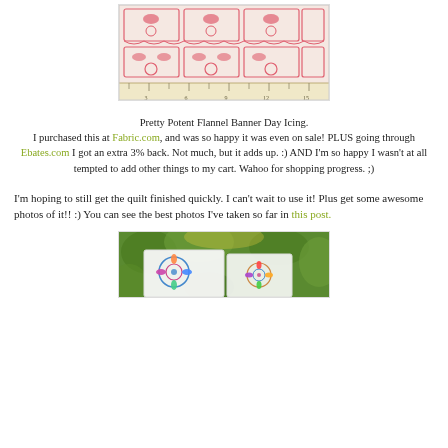[Figure (photo): Photo of pink and cream flannel fabric with bird and floral banner/bunting pattern, shown against a ruler]
Pretty Potent Flannel Banner Day Icing. I purchased this at Fabric.com, and was so happy it was even on sale! PLUS going through Ebates.com I got an extra 3% back. Not much, but it adds up. :) AND I'm so happy I wasn't at all tempted to add other things to my cart. Wahoo for shopping progress. ;)
I'm hoping to still get the quilt finished quickly. I can't wait to use it! Plus get some awesome photos of it!! :) You can see the best photos I've taken so far in this post.
[Figure (photo): Photo of a colorful quilt with medallion/kaleidoscope patterns displayed outdoors among green trees]